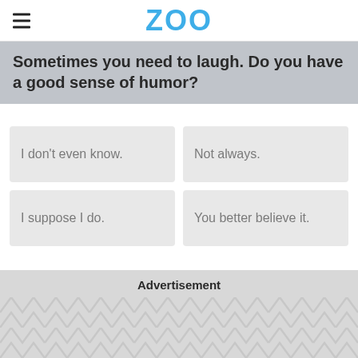ZOO
Sometimes you need to laugh. Do you have a good sense of humor?
I don't even know.
Not always.
I suppose I do.
You better believe it.
Advertisement